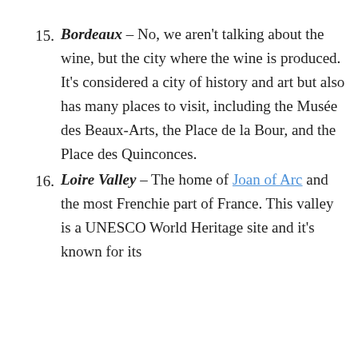Bordeaux – No, we aren't talking about the wine, but the city where the wine is produced. It's considered a city of history and art but also has many places to visit, including the Musée des Beaux-Arts, the Place de la Bour, and the Place des Quinconces.
Loire Valley – The home of Joan of Arc and the most Frenchie part of France. This valley is a UNESCO World Heritage site and it's known for its